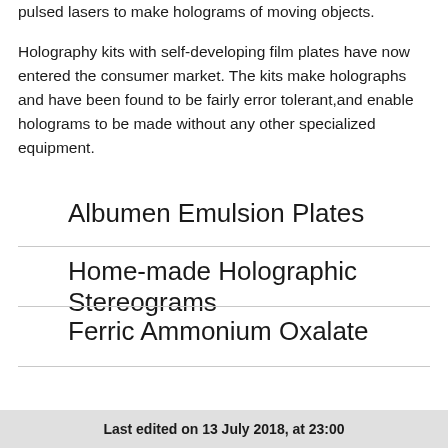pulsed lasers to make holograms of moving objects.
Holography kits with self-developing film plates have now entered the consumer market. The kits make holographs and have been found to be fairly error tolerant,and enable holograms to be made without any other specialized equipment.
Albumen Emulsion Plates
Home-made Holographic Stereograms
Ferric Ammonium Oxalate
Last edited on 13 July 2018, at 23:00